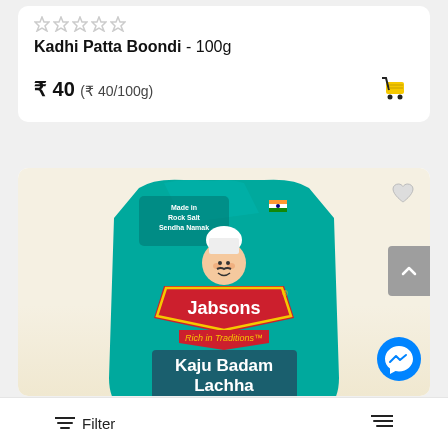★★★★★ (empty stars)
Kadhi Patta Boondi - 100g
₹ 40 (₹ 40/100g)
[Figure (photo): Jabsons Kaju Badam Lachha product package - teal colored bag with chef mascot logo, text reads 'Rich in Traditions', 'Kaju Badam Lachha', 'Perfect Mixture of Cashewnuts, Almonds & Potato Stick']
Filter  [sort icon]